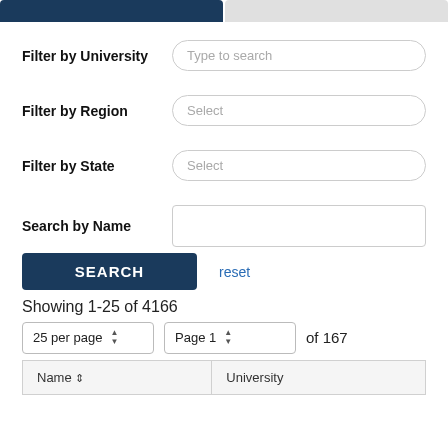[Figure (screenshot): Top navigation tab bar with active dark blue tab and inactive grey tab]
Filter by University
Type to search
Filter by Region
Select
Filter by State
Select
Search by Name
SEARCH
reset
Showing 1-25 of 4166
25 per page
Page 1
of 167
| Name ↕ | University |
| --- | --- |